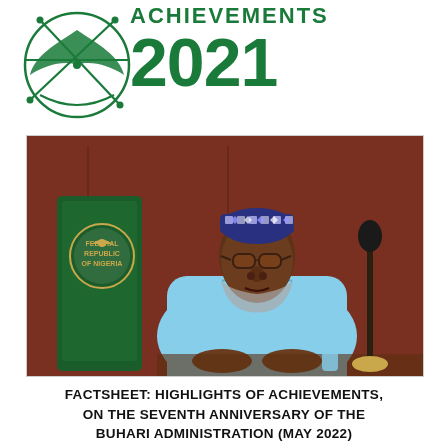[Figure (logo): Nigerian government logo — stylized green abstract design representing eagle/coat of arms, with 'ACHIEVEMENTS 2021' text in dark green]
[Figure (photo): Photo of President Muhammadu Buhari seated at a desk, wearing a light blue agbada and embroidered cap, with a green presidential chair featuring the Federal Republic of Nigeria seal, in an official government setting]
FACTSHEET: HIGHLIGHTS OF ACHIEVEMENTS, ON THE SEVENTH ANNIVERSARY OF THE BUHARI ADMINISTRATION (MAY 2022)